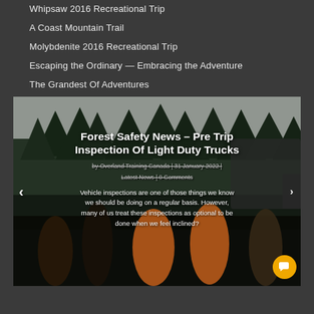Whipsaw 2016 Recreational Trip
A Coast Mountain Trail
Molybdenite 2016 Recreational Trip
Escaping the Ordinary — Embracing the Adventure
The Grandest Of Adventures
[Figure (photo): Photo of people in orange safety vests doing a pre-trip inspection of a truck in a forested outdoor area, with text overlay showing article title, metadata, and excerpt about vehicle inspections.]